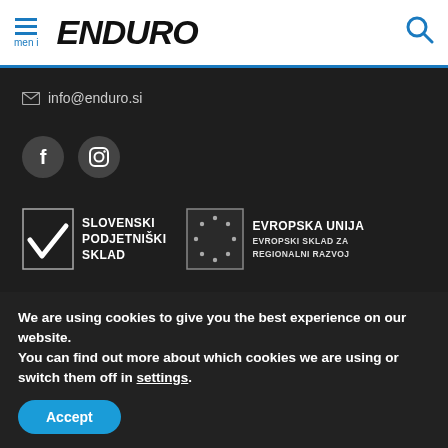meni | ENDURO
info@enduro.si
[Figure (logo): Facebook and Instagram social media icon buttons (dark circles with f and camera icons)]
[Figure (logo): Slovenski Podjetniški Sklad logo with checkmark]
[Figure (logo): Evropska Unija - Evropski Sklad za Regionalni Razvoj logo with EU stars circle]
[Figure (logo): Republika Slovenija - Ministrstvo za Gospodarski Razvoj logo banner]
We are using cookies to give you the best experience on our website.
You can find out more about which cookies we are using or switch them off in settings.
Accept